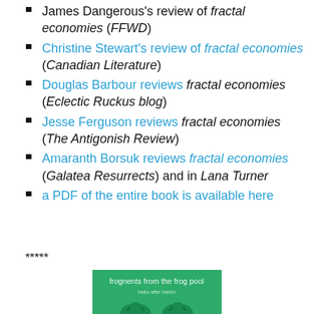James Dangerous's review of fractal economies (FFWD)
Christine Stewart's review of fractal economies (Canadian Literature)
Douglas Barbour reviews fractal economies (Eclectic Ruckus blog)
Jesse Ferguson reviews fractal economies (The Antigonish Review)
Amaranth Borsuk reviews fractal economies (Galatea Resurrects) and in Lana Turner
a PDF of the entire book is available here
*****
[Figure (photo): Green book cover titled 'frognents from the frog pool, haiku after basho' with dark green frog/lily pad illustrations on a green background]